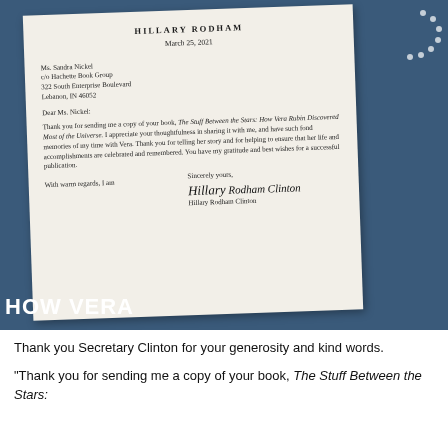[Figure (photo): Photo of a letter on cream-colored paper resting on a blue background. The letter is from Hillary Rodham Clinton, dated March 25, 2021, addressed to Ms. Sandra Nickel c/o Hachette Book Group, 322 South Enterprise Boulevard, Lebanon, IN 46052. The letter thanks the recipient for sending a copy of 'The Stuff Between the Stars: How Vera Rubin Discovered Most of the Universe.' Signed by Hillary Rodham Clinton. The words 'HOW VERA' are visible at the bottom left of the photo.]
Thank you Secretary Clinton for your generosity and kind words.
"Thank you for sending me a copy of your book, The Stuff Between the Stars: